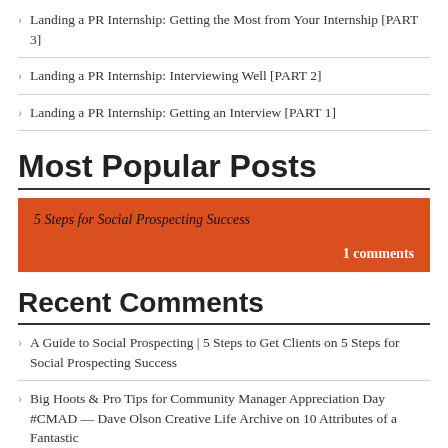Landing a PR Internship: Getting the Most from Your Internship [PART 3]
Landing a PR Internship: Interviewing Well [PART 2]
Landing a PR Internship: Getting an Interview [PART 1]
Most Popular Posts
5 Steps for Social Prospecting Success  1 comments
Recent Comments
A Guide to Social Prospecting | 5 Steps to Get Clients on 5 Steps for Social Prospecting Success
Big Hoots & Pro Tips for Community Manager Appreciation Day #CMAD — Dave Olson Creative Life Archive on 10 Attributes of a Fantastic